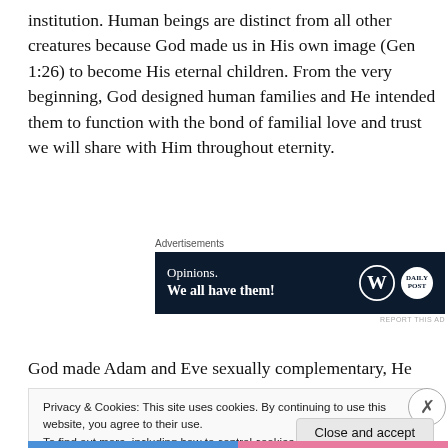institution. Human beings are distinct from all other creatures because God made us in His own image (Gen 1:26) to become His eternal children. From the very beginning, God designed human families and He intended them to function with the bond of familial love and trust we will share with Him throughout eternity.
[Figure (other): Advertisement banner for WordPress/Daily Post: dark navy background with text 'Opinions. We all have them!' alongside WordPress W logo and a circular Daily Post logo.]
God made Adam and Eve sexually complementary, He
Privacy & Cookies: This site uses cookies. By continuing to use this website, you agree to their use.
To find out more, including how to control cookies, see here: Cookie Policy